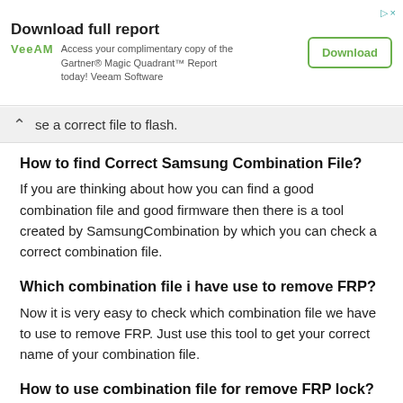[Figure (other): Advertisement banner for Veeam: 'Download full report' with text 'Access your complimentary copy of the Gartner® Magic Quadrant™ Report today! Veeam Software' and a Download button]
se a correct file to flash.
How to find Correct Samsung Combination File?
If you are thinking about how you can find a good combination file and good firmware then there is a tool created by SamsungCombination by which you can check a correct combination file.
Which combination file i have use to remove FRP?
Now it is very easy to check which combination file we have to use to remove FRP. Just use this tool to get your correct name of your combination file.
How to use combination file for remove FRP lock?